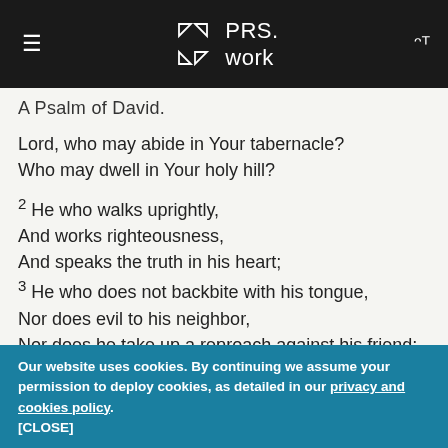PRS.work
A Psalm of David.
Lord, who may abide in Your tabernacle? Who may dwell in Your holy hill?
2 He who walks uprightly,
And works righteousness,
And speaks the truth in his heart;
3 He who does not backbite with his tongue,
Nor does evil to his neighbor,
Nor does he take up a reproach against his friend;
4 In whose eyes a vile person is despised,
Our website uses cookies. By continuing we assume your permission to deploy cookies, as detailed in our privacy and cookies policy. [CLOSE]